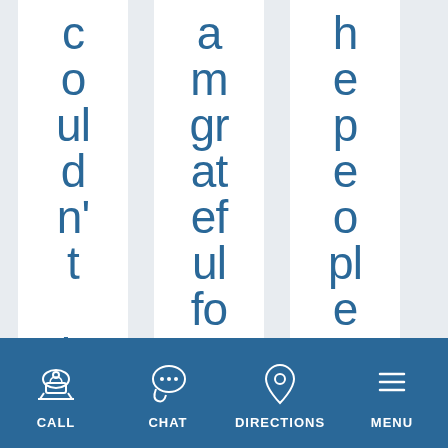couldn't have
amgrateful for th
he people are
[Figure (infographic): Bottom navigation bar with icons and labels: CALL (telephone icon), CHAT (speech bubble icon), DIRECTIONS (location pin icon), MENU (hamburger menu icon) on a dark blue background]